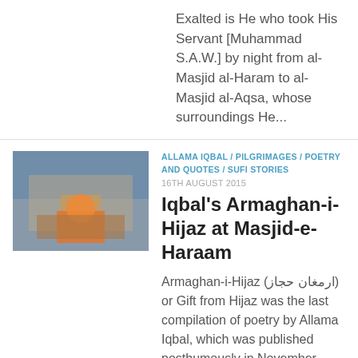Exalted is He who took His Servant [Muhammad S.A.W.] by night from al-Masjid al-Haram to al-Masjid al-Aqsa, whose surroundings He...
[Figure (photo): Thumbnail photo showing Masjid scene with orange book/cover visible]
ALLAMA IQBAL / PILGRIMAGES / POETRY AND QUOTES / SUFI STORIES
16TH AUGUST 2015
Iqbal's Armaghan-i-Hijaz at Masjid-e-Haraam
Armaghan-i-Hijaz (ارمغان حجاز) or Gift from Hijaz was the last compilation of poetry by Allama Iqbal, which was published posthumously in November 1938,...
[Figure (photo): Thumbnail photo showing a building exterior with reddish-brown brick]
PILGRIMAGES  9TH AUGUST 2015